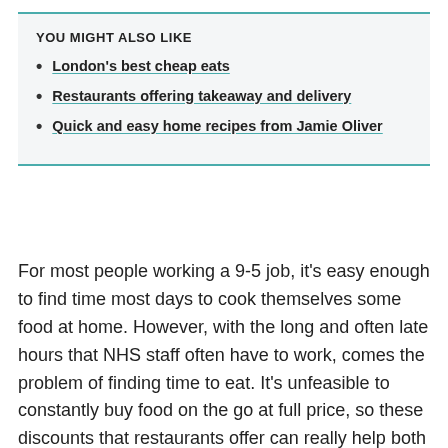YOU MIGHT ALSO LIKE
London's best cheap eats
Restaurants offering takeaway and delivery
Quick and easy home recipes from Jamie Oliver
For most people working a 9-5 job, it's easy enough to find time most days to cook themselves some food at home. However, with the long and often late hours that NHS staff often have to work, comes the problem of finding time to eat. It's unfeasible to constantly buy food on the go at full price, so these discounts that restaurants offer can really help both practically and money-wise. The fact that many food delivery services are also now offering NHS discounts, means that it's also easier than